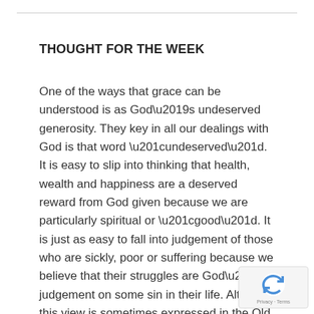THOUGHT FOR THE WEEK
One of the ways that grace can be understood is as God’s undeserved generosity. They key in all our dealings with God is that word “undeserved”. It is easy to slip into thinking that health, wealth and happiness are a deserved reward from God given because we are particularly spiritual or “good”. It is just as easy to fall into judgement of those who are sickly, poor or suffering because we believe that their struggles are God’s judgement on some sin in their life. Although this view is sometimes expressed in the Old Testament, it is never
[Figure (logo): reCAPTCHA badge with Privacy and Terms links]